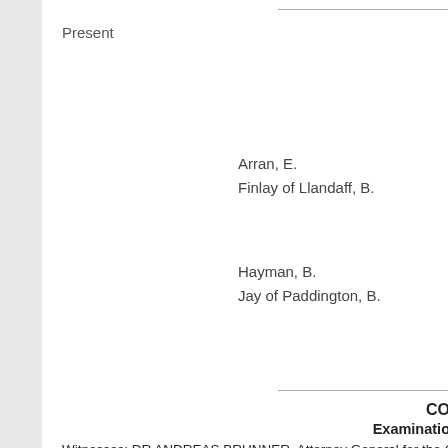Present
Arran, E.
Finlay of Llandaff, B.
Hayman, B.
Jay of Paddington, B.
CO
Examination
Witnesses: DR ANDREAS BRUNNER, Attorney General for the Canton of Aargau, examined.
Question Number
2250 - 2259
2260 - 2279